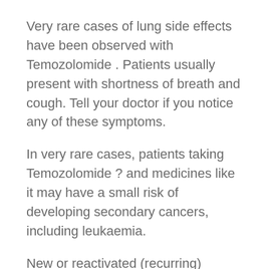Very rare cases of lung side effects have been observed with Temozolomide . Patients usually present with shortness of breath and cough. Tell your doctor if you notice any of these symptoms.
In very rare cases, patients taking Temozolomide ? and medicines like it may have a small risk of developing secondary cancers, including leukaemia.
New or reactivated (recurring) cytomegalovirus infections and reactivated hepatitis B virus infections have been uncommonly reported. Cases of brain infections caused by herpes virus (meningoencephalitis herpetic), including fatal cases, have been uncommonly reported. Cases of sepsis (when bacteria and their toxins circulate in the blood and potentially cause other complications have been